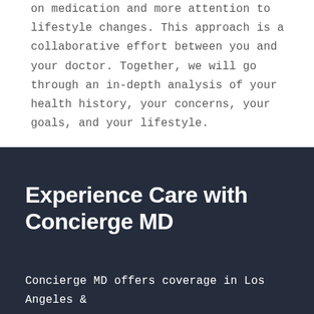on medication and more attention to lifestyle changes. This approach is a collaborative effort between you and your doctor. Together, we will go through an in-depth analysis of your health history, your concerns, your goals, and your lifestyle.
Experience Care with Concierge MD
Concierge MD offers coverage in Los Angeles &